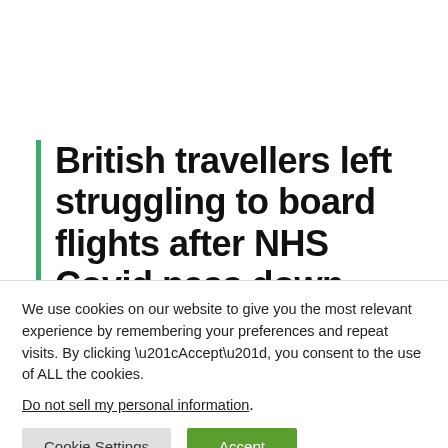British travellers left struggling to board flights after NHS Covid pass down
We use cookies on our website to give you the most relevant experience by remembering your preferences and repeat visits. By clicking “Accept”, you consent to the use of ALL the cookies.
Do not sell my personal information.
Cookie Settings | Accept